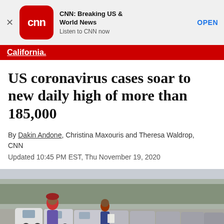[Figure (screenshot): CNN app advertisement banner with CNN logo, title 'CNN: Breaking US & World News', subtitle 'Listen to CNN now', and OPEN button]
California.
US coronavirus cases soar to new daily high of more than 185,000
By Dakin Andone, Christina Maxouris and Theresa Waldrop, CNN
Updated 10:45 PM EST, Thu November 19, 2020
[Figure (photo): People standing near a long line of cars at what appears to be a drive-through COVID-19 testing or food distribution site]